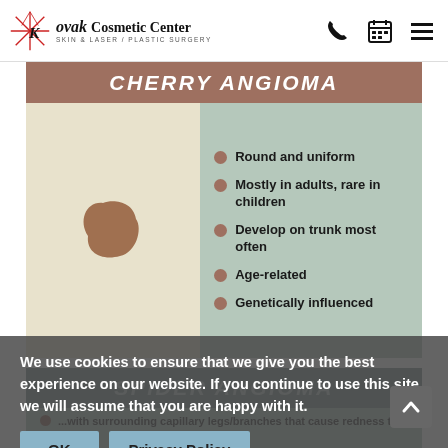Kovak Cosmetic Center – Skin & Laser / Plastic Surgery – nav icons
[Figure (infographic): Cherry Angioma infographic with brownish-tan header, cream left panel showing a brown blob illustration, and sage-green right panel listing bullet points: Round and uniform; Mostly in adults, rare in children; Develop on trunk most often; Age-related; Genetically influenced]
[Figure (infographic): Spider Angioma section header (grey-green) partially visible with bullet text about surrounding capillary legs/branches that cause redness to spread and develop in children & adults]
We use cookies to ensure that we give you the best experience on our website. If you continue to use this site we will assume that you are happy with it.
OK
Privacy Policy